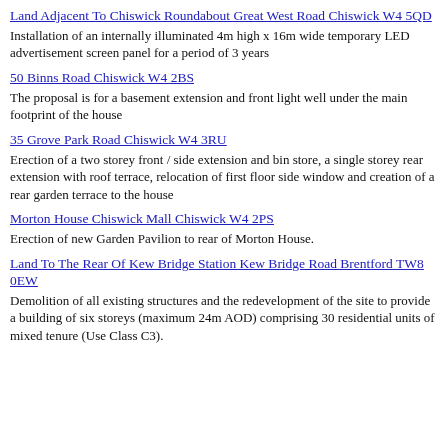Land Adjacent To Chiswick Roundabout Great West Road Chiswick W4 5QD
Installation of an internally illuminated 4m high x 16m wide temporary LED advertisement screen panel for a period of 3 years
50 Binns Road Chiswick W4 2BS
The proposal is for a basement extension and front light well under the main footprint of the house
35 Grove Park Road Chiswick W4 3RU
Erection of a two storey front / side extension and bin store, a single storey rear extension with roof terrace, relocation of first floor side window and creation of a rear garden terrace to the house
Morton House Chiswick Mall Chiswick W4 2PS
Erection of new Garden Pavilion to rear of Morton House.
Land To The Rear Of Kew Bridge Station Kew Bridge Road Brentford TW8 0EW
Demolition of all existing structures and the redevelopment of the site to provide a building of six storeys (maximum 24m AOD) comprising 30 residential units of mixed tenure (Use Class C3).